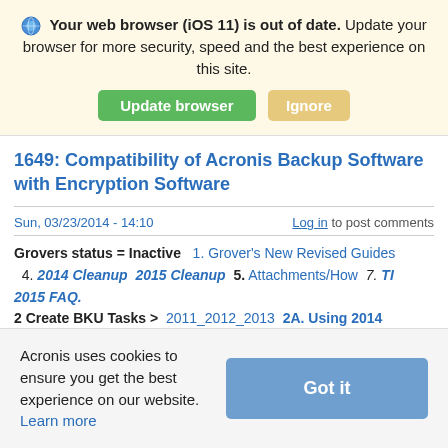Your web browser (iOS 11) is out of date. Update your browser for more security, speed and the best experience on this site.
Update browser | Ignore
1649: Compatibility of Acronis Backup Software with Encryption Software
Sun, 03/23/2014 - 14:10
Log in to post comments
Grovers status = Inactive  1. Grover's New Revised Guides   4. 2014 Cleanup  2015 Cleanup  5. Attachments/How  7. TI 2015 FAQ.
2 Create BKU Tasks >  2011_2012_2013  2A. Using 2014
Acronis uses cookies to ensure you get the best experience on our website. Learn more
Got it